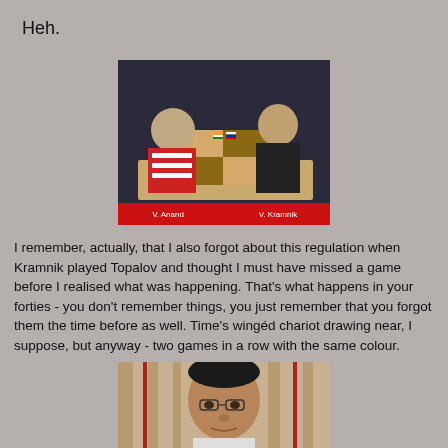Heh.
[Figure (photo): Two chess players seated across a chess board with national flags (India and Russia) between them. A red banner at the bottom reads 'V. Anand' and 'V. Kramnik'.]
I remember, actually, that I also forgot about this regulation when Kramnik played Topalov and thought I must have missed a game before I realised what was happening. That's what happens in your forties - you don't remember things, you just remember that you forgot them the time before as well. Time's wingéd chariot drawing near, I suppose, but anyway - two games in a row with the same colour.
[Figure (photo): Close-up portrait of a chess player (Viswanathan Anand) with glasses, sitting in front of curtains.]